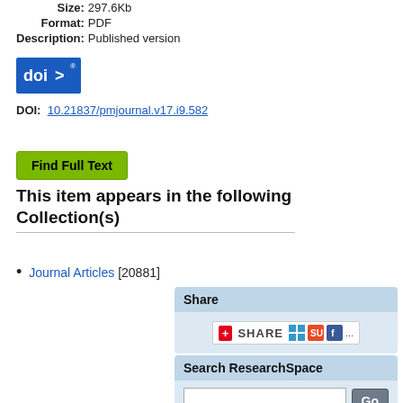Size: 297.6Kb
Format: PDF
Description: Published version
[Figure (logo): DOI blue badge logo with 'doi>' text in white on blue background]
DOI: 10.21837/pmjournal.v17.i9.582
Find Full Text
This item appears in the following Collection(s)
Journal Articles [20881]
Share
[Figure (screenshot): AddThis Share widget with red plus icon, SHARE text, and social media icons including delicious, stumbleupon, and facebook]
Search ResearchSpace
Search input field with Go button